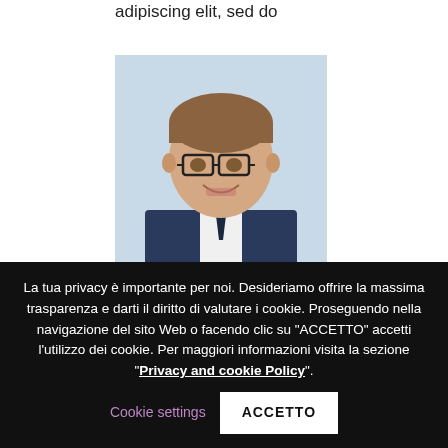adipiscing elit, sed do
[Figure (photo): Professional headshot of a young man in a suit with glasses, smiling, light blue background]
WILLIAM HUDSON
Lorem ipsum dolor sit amet, consectetur adipiscing elit, sed do
La tua privacy è importante per noi. Desideriamo offrire la massima trasparenza e darti il diritto di valutare i cookie. Proseguendo nella navigazione del sito Web o facendo clic su "ACCETTO" accetti l'utilizzo dei cookie. Per maggiori informazioni visita la sezione "Privacy and cookie Policy".
Cookie settings
ACCETTO